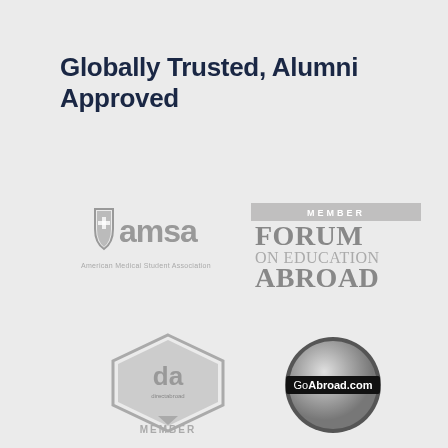Globally Trusted, Alumni Approved
[Figure (logo): AMSA - American Medical Student Association logo in grayscale]
[Figure (logo): MEMBER Forum on Education Abroad logo in grayscale]
[Figure (logo): Go Abroad (GoAbroad.com) MEMBER badge in grayscale]
[Figure (logo): GoAbroad.com circular globe logo in grayscale]